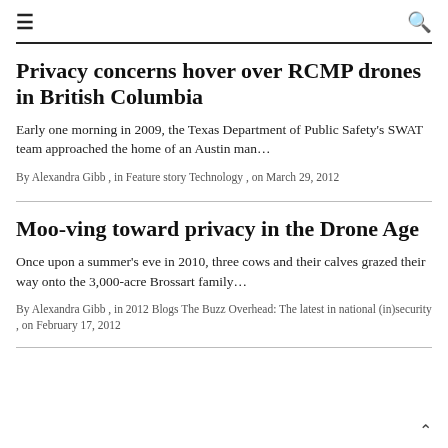≡  🔍
Privacy concerns hover over RCMP drones in British Columbia
Early one morning in 2009, the Texas Department of Public Safety's SWAT team approached the home of an Austin man…
By Alexandra Gibb , in Feature story Technology , on March 29, 2012
Moo-ving toward privacy in the Drone Age
Once upon a summer's eve in 2010, three cows and their calves grazed their way onto the 3,000-acre Brossart family…
By Alexandra Gibb , in 2012 Blogs The Buzz Overhead: The latest in national (in)security , on February 17, 2012